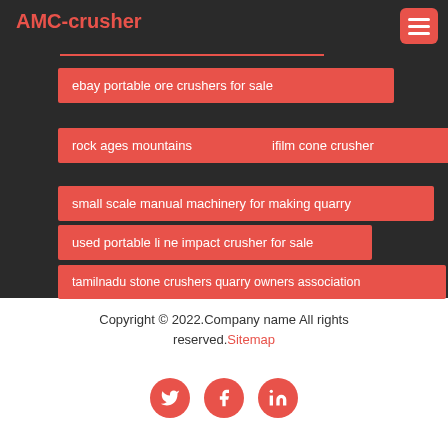AMC-crusher
ebay portable ore crushers for sale
rock ages mountains
ifilm cone crusher
small scale manual machinery for making quarry
used portable li ne impact crusher for sale
tamilnadu stone crushers quarry owners association
Copyright © 2022.Company name All rights reserved. Sitemap